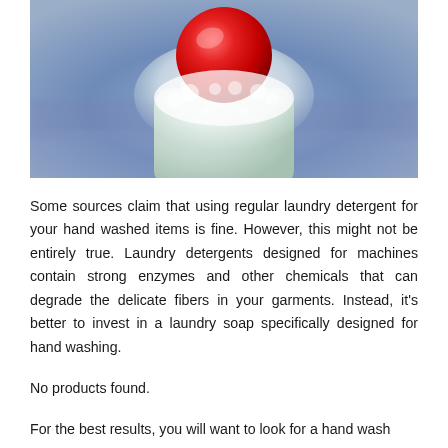[Figure (photo): Close-up photo of a red ball or soap pod sitting in white foam/bubbles on top of a pale green soap bar, with a blue blurred background]
Some sources claim that using regular laundry detergent for your hand washed items is fine. However, this might not be entirely true. Laundry detergents designed for machines contain strong enzymes and other chemicals that can degrade the delicate fibers in your garments. Instead, it's better to invest in a laundry soap specifically designed for hand washing.
No products found.
For the best results, you will want to look for a hand wash